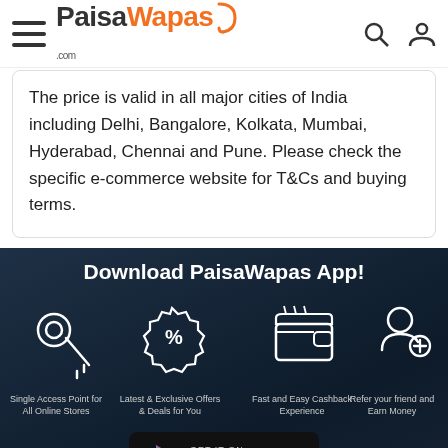PaisaWapas.com
The price is valid in all major cities of India including Delhi, Bangalore, Kolkata, Mumbai, Hyderabad, Chennai and Pune. Please check the specific e-commerce website for T&Cs and buying terms.
Download PaisaWapas App!
[Figure (infographic): Four icons: key (Single Access Point for All Online Stores), percent badge (Latest & Exclusive Offers & Deals for You), wallet (Fast and Easy Cashback Experience), person with plus (Refer your friend and Earn Money)]
[Figure (logo): Get it on Google Play button]
+91
BUY NOW
We're Online!